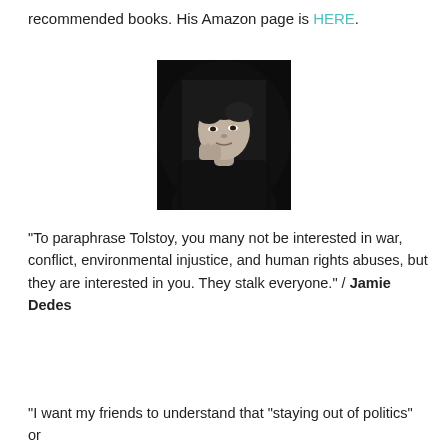recommended books. His Amazon page is HERE.
[Figure (photo): Black and white portrait photograph of a woman (Jamie Dedes) resting her chin on her hand, wearing dark clothing against a dark background.]
“To paraphrase Tolstoy, you many not be interested in war, conflict, environmental injustice, and human rights abuses, but they are interested in you. They stalk everyone.” / Jamie Dedes
“I want my friends to understand that “staying out of politics” or